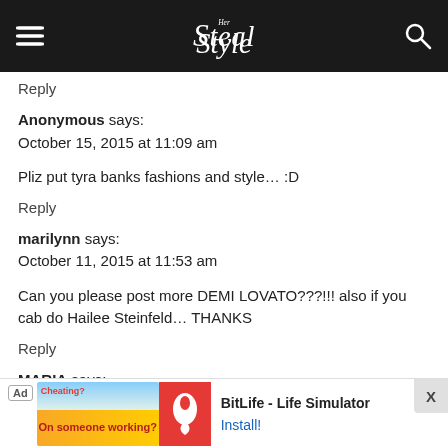Steal Her Style
Reply
Anonymous says:
October 15, 2015 at 11:09 am
Pliz put tyra banks fashions and style… :D
Reply
marilynn says:
October 11, 2015 at 11:53 am
Can you please post more DEMI LOVATO???!!! also if you cab do Hailee Steinfeld… THANKS
Reply
MARIA says:
October 10, 2015 at 9:42 am
[Figure (infographic): Advertisement banner for BitLife - Life Simulator app with cheating themed image and install button]